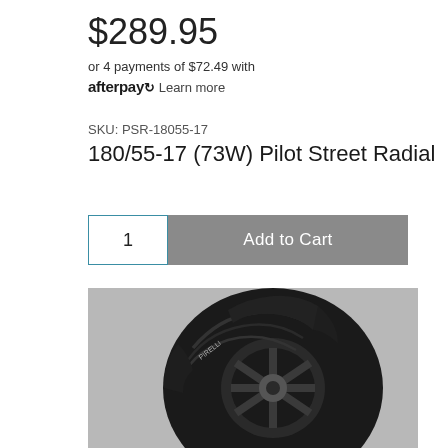$289.95
or 4 payments of $72.49 with afterpay Learn more
SKU: PSR-18055-17
180/55-17 (73W) Pilot Street Radial
1  Add to Cart
[Figure (photo): Black motorcycle tire (Pirelli Pilot Street Radial) shown at an angle on a grey background, displaying the tread pattern and sidewall markings.]